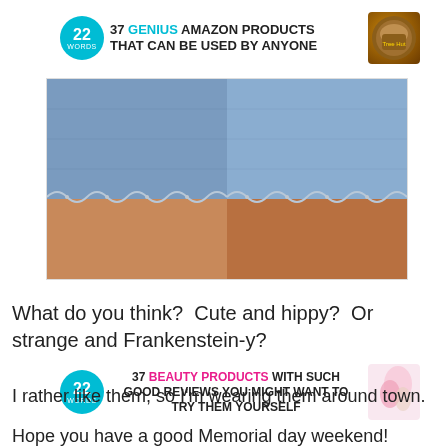[Figure (infographic): 22 Words ad banner: 37 GENIUS AMAZON PRODUCTS THAT CAN BE USED BY ANYONE, with teal circular badge and product jar image]
[Figure (photo): Close-up photo of denim shorts with scalloped lace trim hem on person's legs]
What do you think?  Cute and hippy?  Or strange and Frankenstein-y?
[Figure (infographic): 22 Words ad banner: 37 BEAUTY PRODUCTS WITH SUCH GOOD REVIEWS YOU MIGHT WANT TO TRY THEM YOURSELF, with teal circular badge and beauty product image]
I rather like them, so I'm wearing them around town.
Hope you have a good Memorial day weekend!